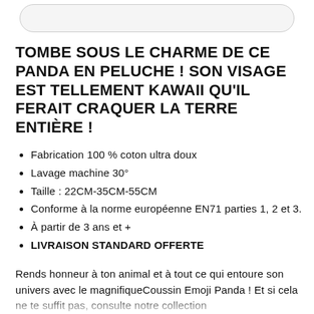TOMBE SOUS LE CHARME DE CE PANDA EN PELUCHE ! SON VISAGE EST TELLEMENT KAWAII QU'IL FERAIT CRAQUER LA TERRE ENTIÈRE !
Fabrication 100 % coton ultra doux
Lavage machine 30°
Taille : 22CM-35CM-55CM
Conforme à la norme européenne EN71 parties 1, 2 et 3.
À partir de 3 ans et +
LIVRAISON STANDARD OFFERTE
Rends honneur à ton animal et à tout ce qui entoure son univers avec le magnifiqueCoussin Emoji Panda ! Et si cela ne te suffit pas, consulte notre collection